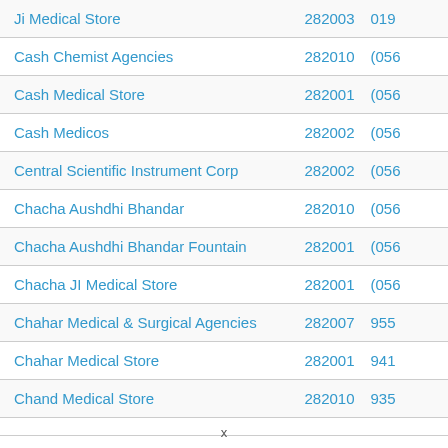| Name | PIN | Phone |
| --- | --- | --- |
| Ji Medical Store | 282003 | 019... |
| Cash Chemist Agencies | 282010 | (056... |
| Cash Medical Store | 282001 | (056... |
| Cash Medicos | 282002 | (056... |
| Central Scientific Instrument Corp | 282002 | (056... |
| Chacha Aushdhi Bhandar | 282010 | (056... |
| Chacha Aushdhi Bhandar Fountain | 282001 | (056... |
| Chacha JI Medical Store | 282001 | (056... |
| Chahar Medical & Surgical Agencies | 282007 | 9557... |
| Chahar Medical Store | 282001 | 9412... |
| Chand Medical Store | 282010 | 9354... |